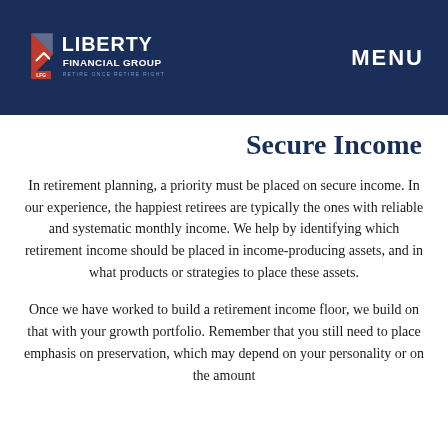Liberty Financial Group — MENU
Secure Income
In retirement planning, a priority must be placed on secure income. In our experience, the happiest retirees are typically the ones with reliable and systematic monthly income. We help by identifying which retirement income should be placed in income-producing assets, and in what products or strategies to place these assets.
Once we have worked to build a retirement income floor, we build on that with your growth portfolio. Remember that you still need to place emphasis on preservation, which may depend on your personality or on the amount